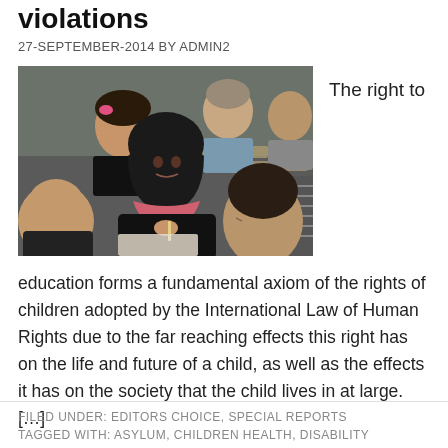violations
27-SEPTEMBER-2014 BY ADMIN2
[Figure (photo): Students sitting in a classroom, including a girl wearing a black hijab holding a pen, with other students visible in the background at desks.]
The right to
education forms a fundamental axiom of the rights of children adopted by the International Law of Human Rights due to the far reaching effects this right has on the life and future of a child, as well as the effects it has on the society that the child lives in at large. […]
FILED UNDER: EDITORS CHOICE, SPECIAL REPORTS
TAGGED WITH: ASYLUM, CHILDREN HEALTH, DISABILITY